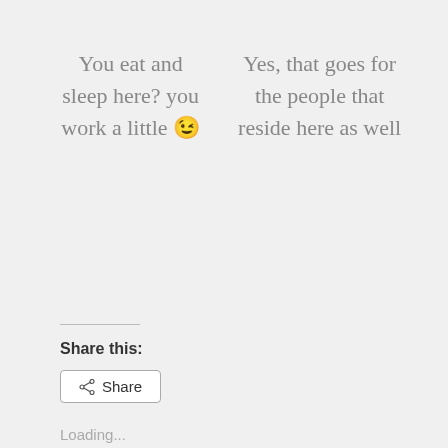You eat and sleep here? you work a little 😉
Yes, that goes for the people that reside here as well
Share this:
Share
Loading...
Innkeeping, travel, Wayfarer    2 Comments